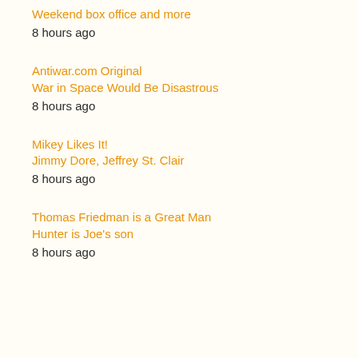Weekend box office and more
8 hours ago
Antiwar.com Original
War in Space Would Be Disastrous
8 hours ago
Mikey Likes It!
Jimmy Dore, Jeffrey St. Clair
8 hours ago
Thomas Friedman is a Great Man
Hunter is Joe's son
8 hours ago